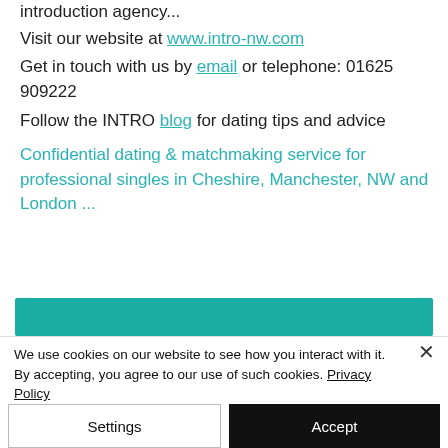introduction agency...
Visit our website at www.intro-nw.com
Get in touch with us by email or telephone: 01625 909222
Follow the INTRO blog for dating tips and advice
Confidential dating & matchmaking service for professional singles in Cheshire, Manchester, NW and London ...
[Figure (other): Teal/turquoise horizontal button bar]
We use cookies on our website to see how you interact with it. By accepting, you agree to our use of such cookies. Privacy Policy
Settings
Accept